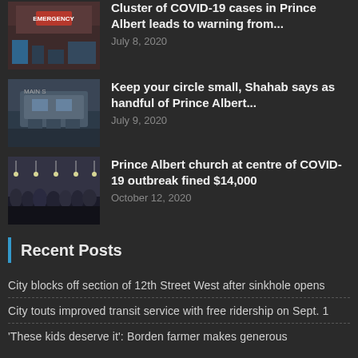[Figure (photo): Hospital emergency entrance exterior photo]
Cluster of COVID-19 cases in Prince Albert leads to warning from...
July 8, 2020
[Figure (photo): Mall exterior building photo]
Keep your circle small, Shahab says as handful of Prince Albert...
July 9, 2020
[Figure (photo): Church gathering indoor crowd photo]
Prince Albert church at centre of COVID-19 outbreak fined $14,000
October 12, 2020
Recent Posts
City blocks off section of 12th Street West after sinkhole opens
City touts improved transit service with free ridership on Sept. 1
'These kids deserve it': Borden farmer makes generous